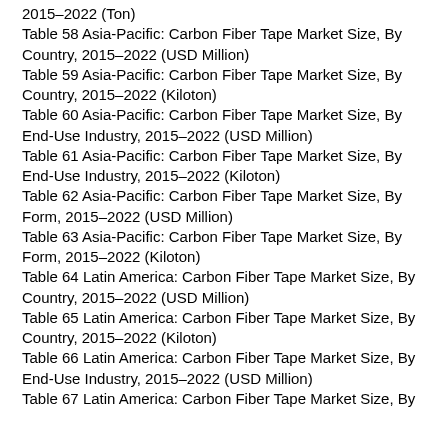2015–2022 (Ton)
Table 58 Asia-Pacific: Carbon Fiber Tape Market Size, By Country, 2015–2022 (USD Million)
Table 59 Asia-Pacific: Carbon Fiber Tape Market Size, By Country, 2015–2022 (Kiloton)
Table 60 Asia-Pacific: Carbon Fiber Tape Market Size, By End-Use Industry, 2015–2022 (USD Million)
Table 61 Asia-Pacific: Carbon Fiber Tape Market Size, By End-Use Industry, 2015–2022 (Kiloton)
Table 62 Asia-Pacific: Carbon Fiber Tape Market Size, By Form, 2015–2022 (USD Million)
Table 63 Asia-Pacific: Carbon Fiber Tape Market Size, By Form, 2015–2022 (Kiloton)
Table 64 Latin America: Carbon Fiber Tape Market Size, By Country, 2015–2022 (USD Million)
Table 65 Latin America: Carbon Fiber Tape Market Size, By Country, 2015–2022 (Kiloton)
Table 66 Latin America: Carbon Fiber Tape Market Size, By End-Use Industry, 2015–2022 (USD Million)
Table 67 Latin America: Carbon Fiber Tape Market Size, By